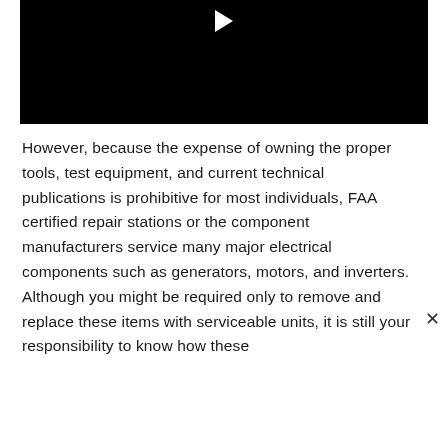[Figure (other): Black video player thumbnail with a white play button arrow at the top center]
However, because the expense of owning the proper tools, test equipment, and current technical publications is prohibitive for most individuals, FAA certified repair stations or the component manufacturers service many major electrical components such as generators, motors, and inverters. Although you might be required only to remove and replace these items with serviceable units, it is still your responsibility to know how these